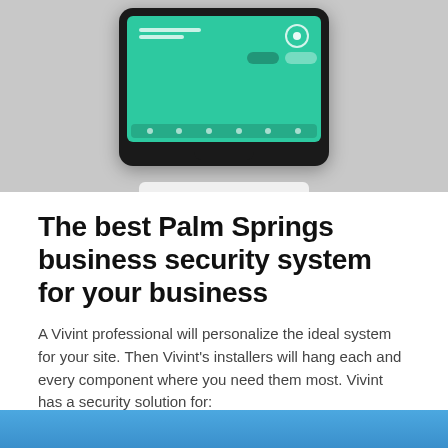[Figure (photo): A Vivint smart home security panel device mounted on a wall, showing a teal/green screen interface with glowing teal light at the bottom.]
The best Palm Springs business security system for your business
A Vivint professional will personalize the ideal system for your site. Then Vivint's installers will hang each and every component where you need them most. Vivint has a security solution for: